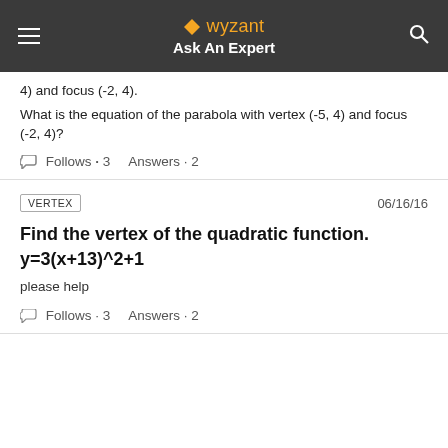wyzant Ask An Expert
4) and focus (-2, 4).
What is the equation of the parabola with vertex (-5, 4) and focus (-2, 4)?
Follows • 3    Answers • 2
VERTEX    06/16/16
Find the vertex of the quadratic function. y=3(x+13)^2+1
please help
Follows • 3    Answers • 2